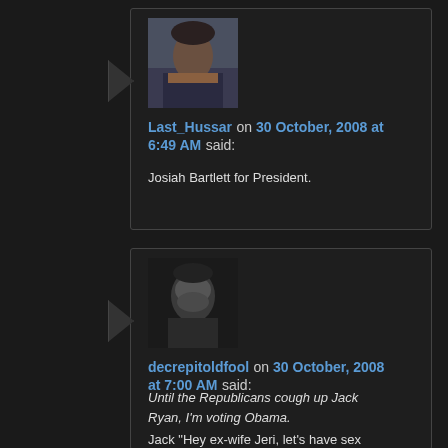[Figure (photo): Avatar of Last_Hussar showing a person in military costume on horseback]
Last_Hussar on 30 October, 2008 at 6:49 AM said:
Josiah Bartlett for President.
[Figure (photo): Avatar of decrepitoldfool showing a grayscale portrait of a person]
decrepitoldfool on 30 October, 2008 at 7:00 AM said:
Until the Republicans cough up Jack Ryan, I'm voting Obama.
Jack "Hey ex-wife Jeri, let's have sex